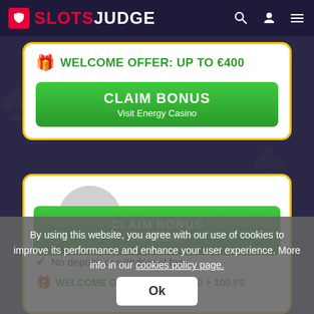SLOTSJUDGE
WELCOME OFFER: UP TO €400
CLAIM BONUS
Visit Energy Casino
2  Karamba
No deposit or withdrawal fees
WELCOME OFFER: UP TO €200 + 100 FS
CLAIM BONUS
Visit Karamba
By using this website, you agree with our use of cookies to improve its performance and enhance your user experience. More info in our cookies policy page.
Ok